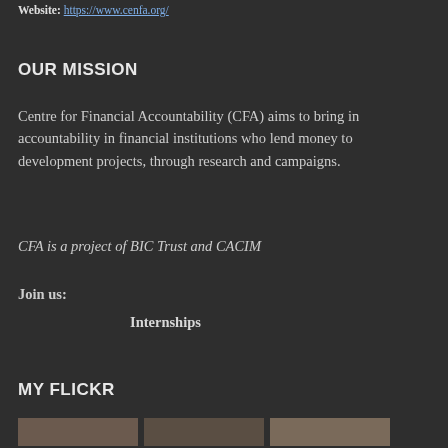Website: https://www.cenfa.org/
OUR MISSION
Centre for Financial Accountability (CFA) aims to bring in accountability in financial institutions who lend money to development projects, through research and campaigns.
CFA is a project of BIC Trust and CACIM
Join us:
Internships
MY FLICKR
[Figure (photo): Three small thumbnail photos visible at the bottom of the page]